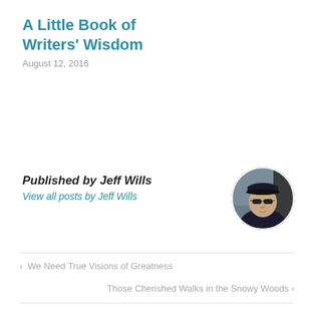A Little Book of Writers' Wisdom
August 12, 2016
Published by Jeff Wills
View all posts by Jeff Wills
[Figure (photo): Circular avatar photo of Jeff Wills wearing sunglasses and a dark cap, outdoors]
‹  We Need True Visions of Greatness
Those Cherished Walks in the Snowy Woods  ›